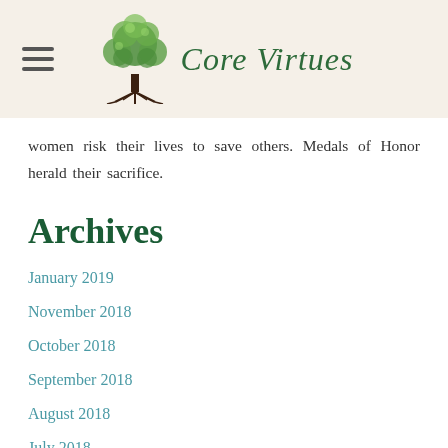Core Virtues
women risk their lives to save others. Medals of Honor herald their sacrifice.
Archives
January 2019
November 2018
October 2018
September 2018
August 2018
July 2018
June 2018
May 2018